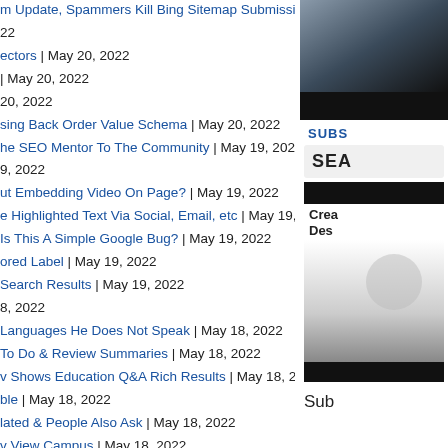m Update, Spammers Kill Bing Sitemap Submission, FID to INP, New
22
ectors | May 20, 2022
| May 20, 2022
20, 2022
sing Back Order Value Schema | May 20, 2022
he SEO Mentor To The Community | May 19, 2022
9, 2022
ut Embedding Video On Page? | May 19, 2022
e Highlighted Text Via Social, Email, etc | May 19, 2022
Is This A Simple Google Bug? | May 19, 2022
ored Label | May 19, 2022
Search Results | May 19, 2022
8, 2022
Languages He Does Not Speak | May 18, 2022
To Do & Review Summaries | May 18, 2022
v Shows Education Q&A Rich Results | May 18, 2022
ble | May 18, 2022
lated & People Also Ask | May 18, 2022
v View Campus | May 18, 2022
[Figure (photo): Dark abstract image in right column top]
SUBS
SEA
[Figure (photo): Advertisement image with text Crea Des and person]
Sub